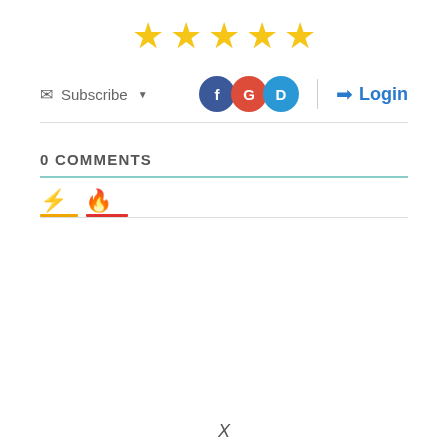[Figure (other): Five gold star rating icons displayed in a row]
Subscribe ▾
[Figure (other): Social login buttons: Facebook (blue circle F), Google (red circle G), Disqus (cyan circle D), vertical divider, Login button with arrow icon]
0 COMMENTS
[Figure (other): Comment tab icons: lightning bolt (Best) and fire (Hot) with colored underlines below each tab]